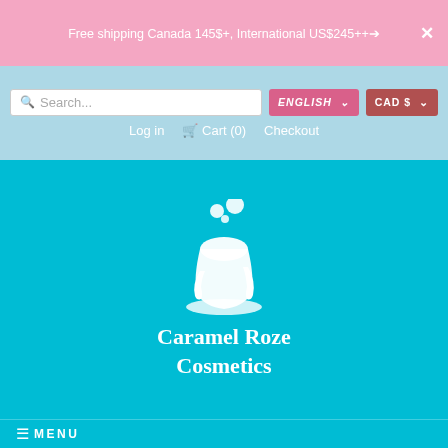Free shipping Canada 145$+, International US$245++→
Search...
ENGLISH ∨
CAD $ ∨
Log in   🛒 Cart (0)   Checkout
[Figure (logo): Caramel Roze Cosmetics logo: white illustration of a dripping cosmetic jar with bubbles on a teal background, with brand name 'Caramel Roze Cosmetics' in white bold serif font below]
≡ MENU